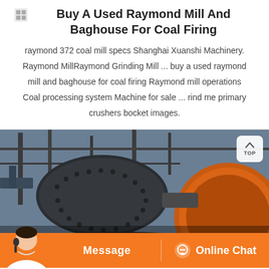Buy A Used Raymond Mill And Baghouse For Coal Firing
raymond 372 coal mill specs Shanghai Xuanshi Machinery. Raymond MillRaymond Grinding Mill ... buy a used raymond mill and baghouse for coal firing Raymond mill operations Coal processing system Machine for sale ... rind me primary crushers bocket images.
[Figure (photo): Industrial ball mill machinery with large rotating drums, gears, and metal framework in a factory setting. Orange circular gear visible on right side. 'TOP' navigation button in upper right corner.]